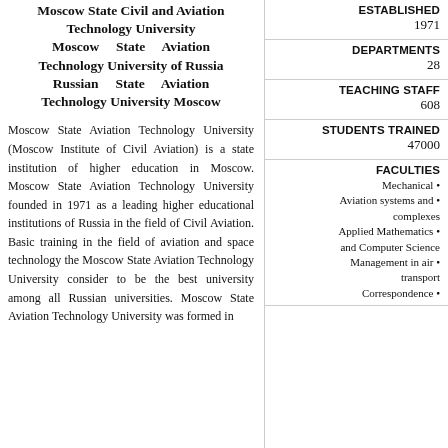Moscow State Civil and Aviation Technology University Moscow State Aviation Technology University of Russia Russian State Aviation Technology University Moscow
Moscow State Aviation Technology University (Moscow Institute of Civil Aviation) is a state institution of higher education in Moscow. Moscow State Aviation Technology University founded in 1971 as a leading higher educational institutions of Russia in the field of Civil Aviation. Basic training in the field of aviation and space technology the Moscow State Aviation Technology University consider to be the best university among all Russian universities. Moscow State Aviation Technology University was formed in
ESTABLISHED
1971
DEPARTMENTS
28
TEACHING STAFF
608
STUDENTS TRAINED
47000
FACULTIES
Mechanical •
Aviation systems and • complexes
Applied Mathematics • and Computer Science
Management in air • transport
Correspondence •